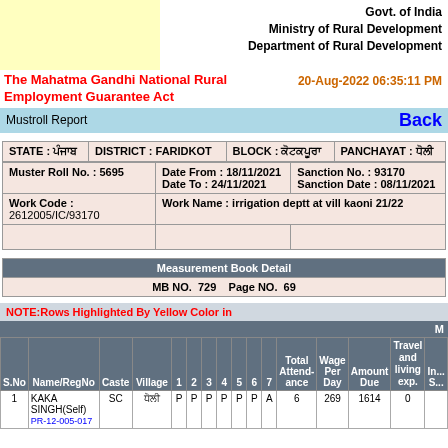Govt. of India
Ministry of Rural Development
Department of Rural Development
The Mahatma Gandhi National Rural Employment Guarantee Act
20-Aug-2022 06:35:11 PM
Mustroll Report   Back
| STATE | DISTRICT | BLOCK | PANCHAYAT |
| --- | --- | --- | --- |
| ਪੰਜਾਬ | FARIDKOT | ਕੋਟਕਪੂਰਾ | ਧੋਲੀ |
| Muster Roll No. | Date From / Date To | Sanction No. / Sanction Date |
| --- | --- | --- |
| 5695 | 18/11/2021 / 24/11/2021 | 93170 / 08/11/2021 |
| Work Code | Work Name |
| --- | --- |
| 2612005/IC/93170 | irrigation deptt at vill kaoni 21/22 |
| Measurement Book Detail |
| --- |
| MB NO.  729    Page NO.  69 |
NOTE:Rows Highlighted By Yellow Color i...
| S.No | Name/RegNo | Caste | Village | 1 | 2 | 3 | 4 | 5 | 6 | 7 | Total Attendance | Wage Per Day | Amount Due | Travel and living exp. | In... S... |
| --- | --- | --- | --- | --- | --- | --- | --- | --- | --- | --- | --- | --- | --- | --- | --- |
| 1 | KAKA SINGH(Self)
PR-12-005-017 | SC | ਧੋਲੀ | P | P | P | P | P | P | A | 6 | 269 | 1614 | 0 |  |